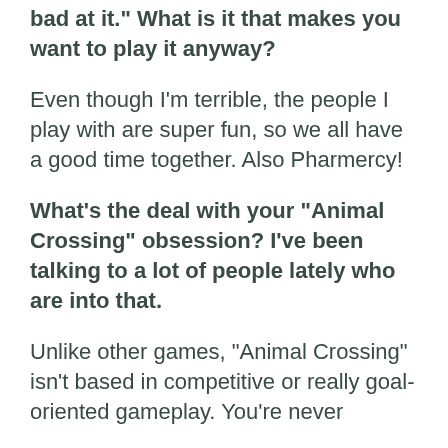bad at it.” What is it that makes you want to play it anyway?
Even though I’m terrible, the people I play with are super fun, so we all have a good time together. Also Pharmercy!
What’s the deal with your “Animal Crossing” obsession? I’ve been talking to a lot of people lately who are into that.
Unlike other games, “Animal Crossing” isn’t based in competitive or really goal-oriented gameplay. You’re never